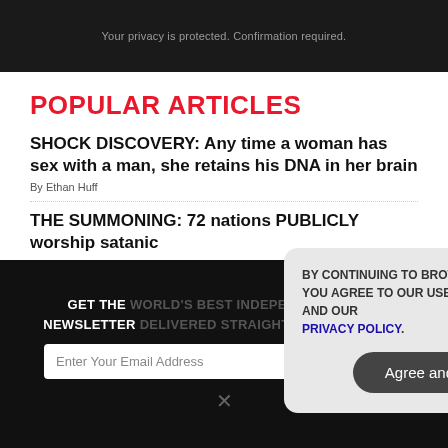Your privacy is protected. Confirmation required.
POPULAR ARTICLES
SHOCK DISCOVERY: Any time a woman has sex with a man, she retains his DNA in her brain
By Ethan Huff
THE SUMMONING: 72 nations PUBLICLY worship satanic
GET THE WORLD'S BEST INDEPENDENT MEDIA NEWSLETTER DELIVERED STRAIGHT TO YOUR INBOX.
Enter Your Email Address
SUBSCRIBE
BY CONTINUING TO BROWSE OUR SITE YOU AGREE TO OUR USE OF COOKIES AND OUR PRIVACY POLICY.
Agree and close